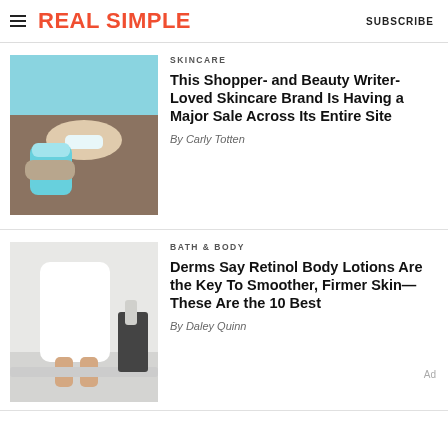REAL SIMPLE | SUBSCRIBE
[Figure (photo): Close-up of a person smiling and holding a turquoise skincare product jar]
SKINCARE
This Shopper- and Beauty Writer-Loved Skincare Brand Is Having a Major Sale Across Its Entire Site
By Carly Totten
[Figure (photo): Person in a white robe sitting on a bath edge in a modern bathroom]
BATH & BODY
Derms Say Retinol Body Lotions Are the Key To Smoother, Firmer Skin—These Are the 10 Best
By Daley Quinn